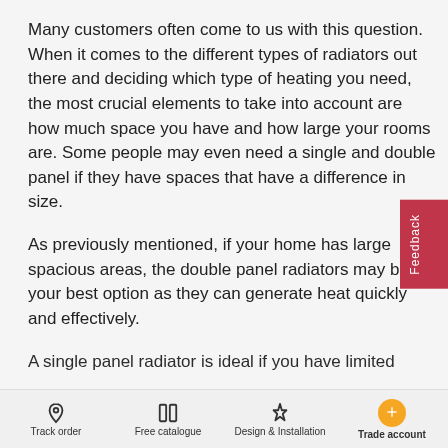Many customers often come to us with this question. When it comes to the different types of radiators out there and deciding which type of heating you need, the most crucial elements to take into account are how much space you have and how large your rooms are. Some people may even need a single and double panel if they have spaces that have a difference in size.
As previously mentioned, if your home has large spacious areas, the double panel radiators may be your best option as they can generate heat quickly and effectively.
A single panel radiator is ideal if you have limited
Track order   Free catalogue   Design & Installation   Trade account